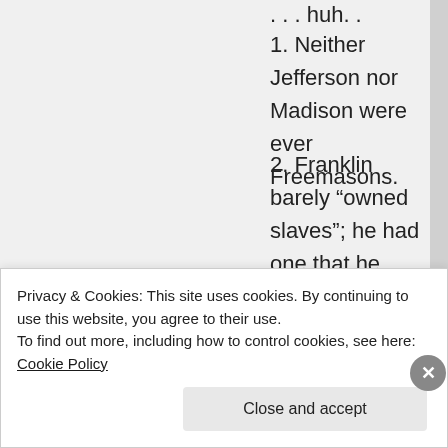. . . huh. .
1. Neither Jefferson nor Madison were ever Freemasons.
2. Franklin barely “owned slaves”; he had one that he treated like a friend and employee, and eventually freed him. Franklin became a staunch abolitionist and co-founded the first organization to push for ending slavery.
★ Like
Privacy & Cookies: This site uses cookies. By continuing to use this website, you agree to their use.
To find out more, including how to control cookies, see here: Cookie Policy